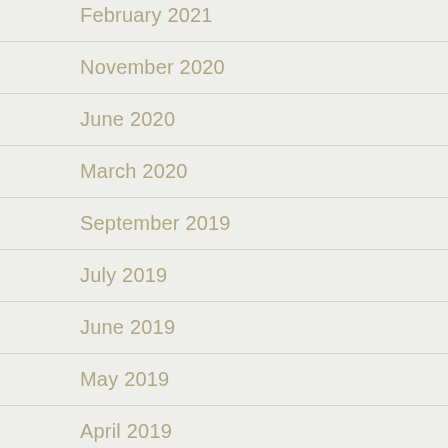February 2021
November 2020
June 2020
March 2020
September 2019
July 2019
June 2019
May 2019
April 2019
March 2019
February 2019